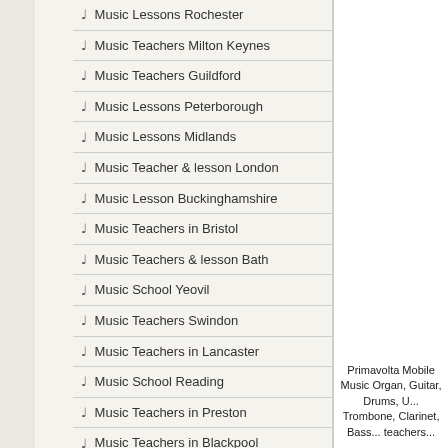Music Lessons Rochester
Music Teachers Milton Keynes
Music Teachers Guildford
Music Lessons Peterborough
Music Lessons Midlands
Music Teacher & lesson London
Music Lesson Buckinghamshire
Music Teachers in Bristol
Music Teachers & lesson Bath
Music School Yeovil
Music Teachers Swindon
Music Teachers in Lancaster
Music School Reading
Music Teachers in Preston
Music Teachers in Blackpool
Primavolta Mobile Music Organ, Guitar, Drums, U... Trombone, Clarinet, Bass... teachers...